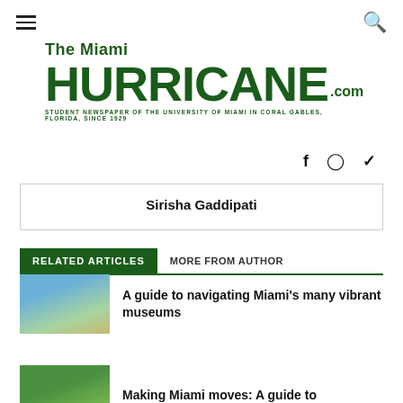The Miami Hurricane.com — STUDENT NEWSPAPER OF THE UNIVERSITY OF MIAMI IN CORAL GABLES, FLORIDA, SINCE 1929
Sirisha Gaddipati
RELATED ARTICLES | MORE FROM AUTHOR
A guide to navigating Miami's many vibrant museums
Making Miami moves: A guide to